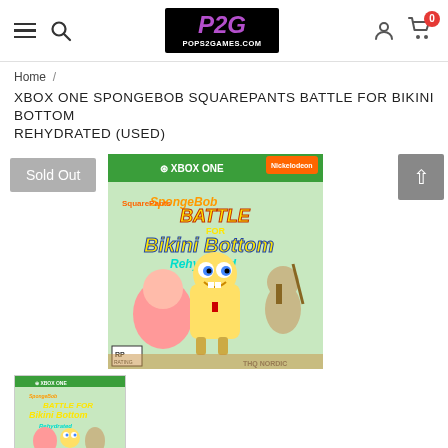[Figure (logo): P2G POPS2GAMES.COM logo in black box with purple and white text]
Home /
XBOX ONE SPONGEBOB SQUAREPANTS BATTLE FOR BIKINI BOTTOM REHYDRATED (USED)
[Figure (photo): Xbox One SpongeBob SquarePants Battle for Bikini Bottom Rehydrated game cover art showing SpongeBob, Patrick, and Sandy with green header]
[Figure (photo): Thumbnail of Xbox One SpongeBob SquarePants Battle for Bikini Bottom Rehydrated game cover]